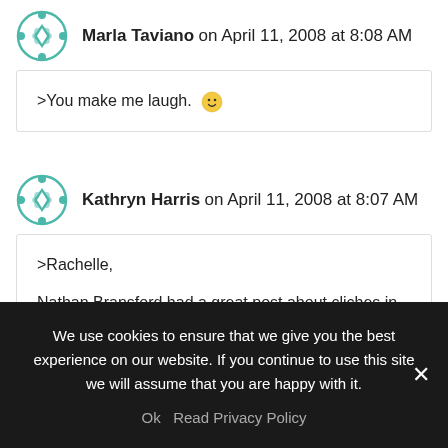Marla Taviano on April 11, 2008 at 8:08 AM
>You make me laugh. 🙂
Kathryn Harris on April 11, 2008 at 8:07 AM
>Rachelle,

Nathan Bransford had a great post about cliches in query
We use cookies to ensure that we give you the best experience on our website. If you continue to use this site we will assume that you are happy with it.
Ok  Read Privacy Policy